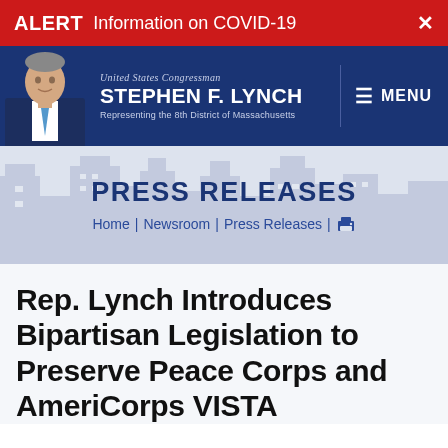ALERT  Information on COVID-19  ×
[Figure (screenshot): Website header for US Congressman Stephen F. Lynch, Representing the 8th District of Massachusetts, with photo of congressman and MENU button]
PRESS RELEASES
Home | Newsroom | Press Releases | 🖨
Rep. Lynch Introduces Bipartisan Legislation to Preserve Peace Corps and AmeriCorps VISTA